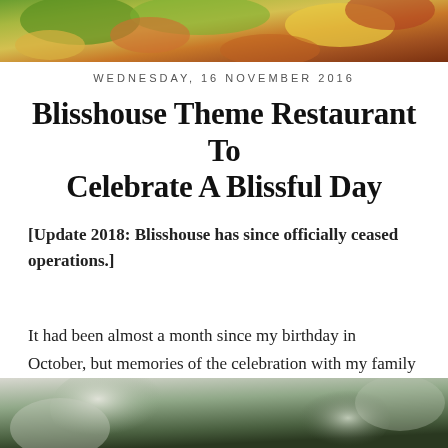[Figure (photo): Top cropped food/floral photo showing colorful food items with green leaves and yellow/orange colors]
WEDNESDAY, 16 NOVEMBER 2016
Blisshouse Theme Restaurant To Celebrate A Blissful Day
[Update 2018: Blisshouse has since officially ceased operations.]
It had been almost a month since my birthday in October, but memories of the celebration with my family and friends are still so fresh and sweet!
[Figure (photo): Bottom cropped photo showing blurred bokeh with green and white tones, likely a restaurant interior or outdoor scene]